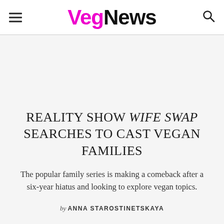VegNews
REALITY SHOW WIFE SWAP SEARCHES TO CAST VEGAN FAMILIES
The popular family series is making a comeback after a six-year hiatus and looking to explore vegan topics.
by ANNA STAROSTINETSKAYA